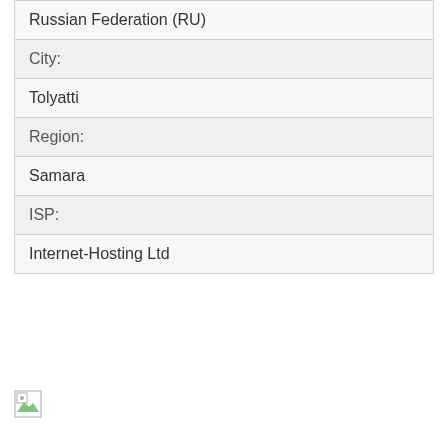| Russian Federation (RU) |
| City: |
| Tolyatti |
| Region: |
| Samara |
| ISP: |
| Internet-Hosting Ltd |
[Figure (other): Broken image icon in bottom-left corner]